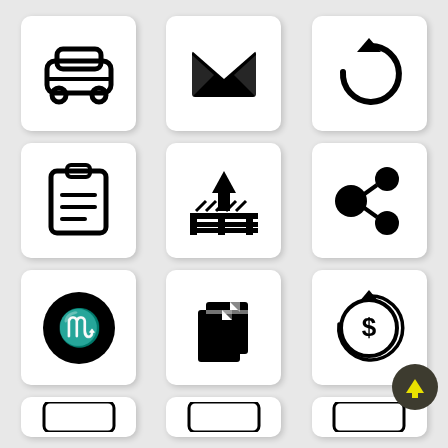[Figure (illustration): Car icon - front view of automobile]
[Figure (illustration): Email/envelope icon - closed envelope with X pattern]
[Figure (illustration): Refresh/reload icon - circular arrow]
[Figure (illustration): Clipboard/document list icon]
[Figure (illustration): Pallet/warehouse/download to pallet icon]
[Figure (illustration): Share/network nodes icon]
[Figure (illustration): Scorpio zodiac sign icon in black circle]
[Figure (illustration): Copy/duplicate documents icon]
[Figure (illustration): Dollar coin/currency icon with circular arrow]
[Figure (illustration): Scroll to top button - dark circle with yellow up arrow]
[Figure (illustration): Partial row of icons at bottom (cut off)]